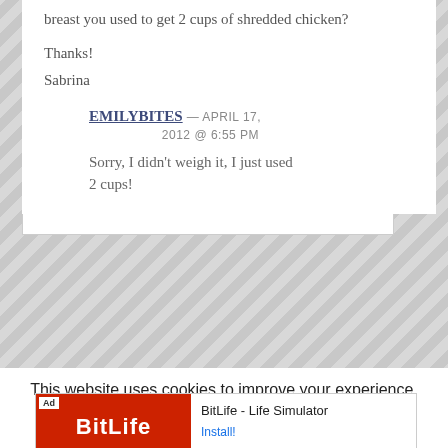breast you used to get 2 cups of shredded chicken?

Thanks!

Sabrina
EMILYBITES — APRIL 17, 2012 @ 6:55 PM

Sorry, I didn't weigh it, I just used 2 cups!
This website uses cookies to improve your experience. We'll assume you're ok with this, but you can opt-out if you wish.
[Figure (screenshot): BitLife - Life Simulator advertisement with red background and Install! button]